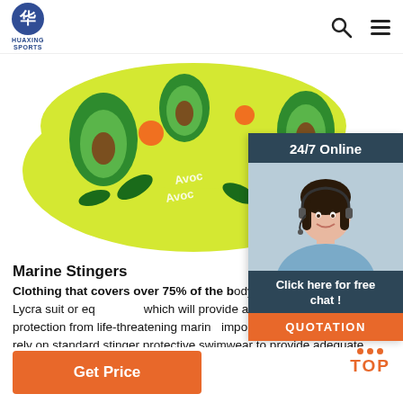HUAXING SPORTS
[Figure (photo): Colorful yellow swim cap with avocado fruit pattern design, green and orange avocados printed on yellow background]
[Figure (photo): 24/7 Online chat panel with woman wearing headset, dark navy header, Click here for free chat CTA, and orange QUOTATION button]
Marine Stingers
Clothing that covers over 75% of the body surface, i.e. a full-body Lycra suit or equivalent, which will provide a reasonable measure of protection from life-threatening marine... important for swimmers not to rely on standard stinger protective swimwear to provide adequate protection during times of heavy marine stinger...
Get Price